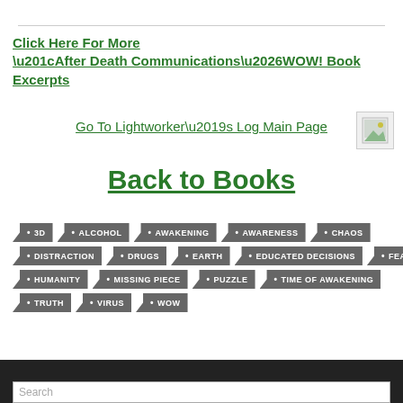Click Here For More
“After Death Communications…WOW! Book Excerpts
Go To Lightworker’s Log Main Page
Back to Books
3D
ALCOHOL
AWAKENING
AWARENESS
CHAOS
DISTRACTION
DRUGS
EARTH
EDUCATED DECISIONS
FEAR
HUMANITY
MISSING PIECE
PUZZLE
TIME OF AWAKENING
TRUTH
VIRUS
WOW